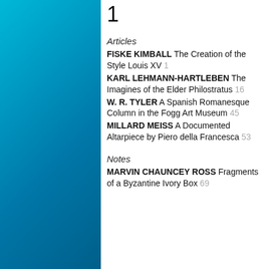[Figure (illustration): Cyan/teal gradient decorative panel on left side of page]
1
Articles
FISKE KIMBALL The Creation of the Style Louis XV 1
KARL LEHMANN-HARTLEBEN The Imagines of the Elder Philostratus 16
W. R. TYLER A Spanish Romanesque Column in the Fogg Art Museum 45
MILLARD MEISS A Documented Altarpiece by Piero della Francesca 53
Notes
MARVIN CHAUNCEY ROSS Fragments of a Byzantine Ivory Box 69